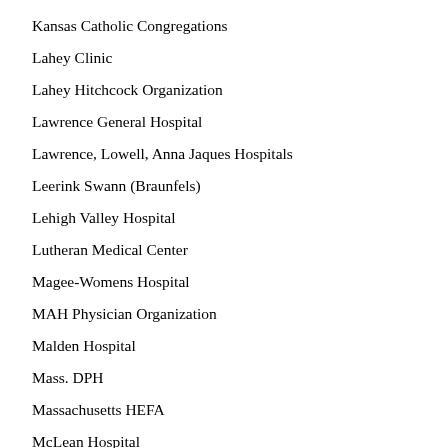Kansas Catholic Congregations
Lahey Clinic
Lahey Hitchcock Organization
Lawrence General Hospital
Lawrence, Lowell, Anna Jaques Hospitals
Leerink Swann (Braunfels)
Lehigh Valley Hospital
Lutheran Medical Center
Magee-Womens Hospital
MAH Physician Organization
Malden Hospital
Mass. DPH
Massachusetts HEFA
McLean Hospital
Medical College of Penna
Medical Diagnostics, Inc. (Back Center)
Medlantic